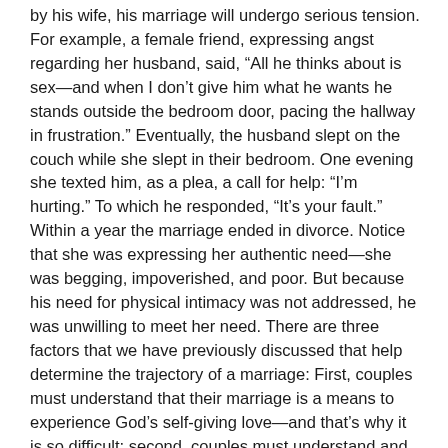by his wife, his marriage will undergo serious tension. For example, a female friend, expressing angst regarding her husband, said, "All he thinks about is sex—and when I don't give him what he wants he stands outside the bedroom door, pacing the hallway in frustration." Eventually, the husband slept on the couch while she slept in their bedroom. One evening she texted him, as a plea, a call for help: "I'm hurting." To which he responded, "It's your fault." Within a year the marriage ended in divorce. Notice that she was expressing her authentic need—she was begging, impoverished, and poor. But because his need for physical intimacy was not addressed, he was unwilling to meet her need. There are three factors that we have previously discussed that help determine the trajectory of a marriage: First, couples must understand that their marriage is a means to experience God's self-giving love—and that's why it is so difficult; second, couples must understand and express their authentic God-given needs; third, they must accept that they cannot determine how the their spouse meets those needs.